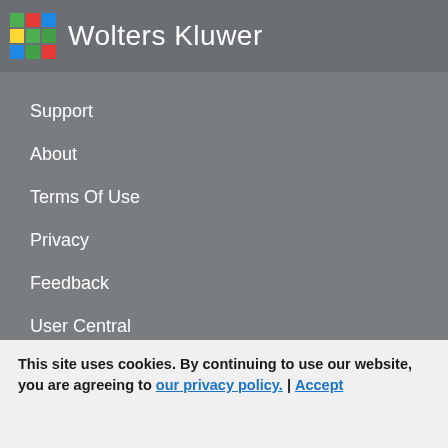[Figure (logo): Wolters Kluwer logo with colorful mosaic square icon and brand name in white text]
Support
About
Terms Of Use
Privacy
Feedback
User Central
This site uses cookies. By continuing to use our website, you are agreeing to our privacy policy. | Accept